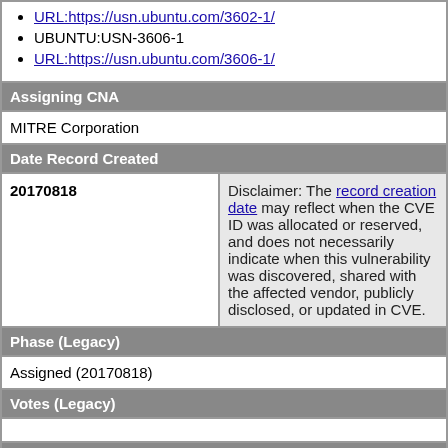URL:https://usn.ubuntu.com/3602-1/
UBUNTU:USN-3606-1
URL:https://usn.ubuntu.com/3606-1/
Assigning CNA
MITRE Corporation
Date Record Created
| Date | Disclaimer |
| --- | --- |
| 20170818 | Disclaimer: The record creation date may reflect when the CVE ID was allocated or reserved, and does not necessarily indicate when this vulnerability was discovered, shared with the affected vendor, publicly disclosed, or updated in CVE. |
Phase (Legacy)
Assigned (20170818)
Votes (Legacy)
Comments (Legacy)
Proposed (Legacy)